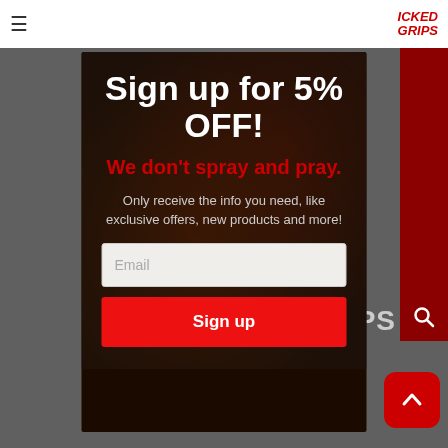[Figure (screenshot): Website popup modal for Wicked Grips with dark background showing 'Sign up for 5% OFF!' heading, red subtitle 'We don't spray and pray.', descriptive text, email input field, and red Sign up button. Background shows dimmed website with navigation bar.]
Sign up for 5% OFF!
We don't spray and pray.
Only receive the info you need, like exclusive offers, new products and more!
Email
Sign up